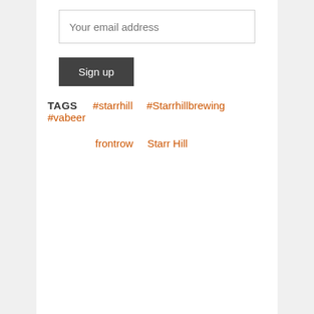Your email address
Sign up
TAGS   #starrhill   #Starrhillbrewing   #vabeer   frontrow   Starr Hill